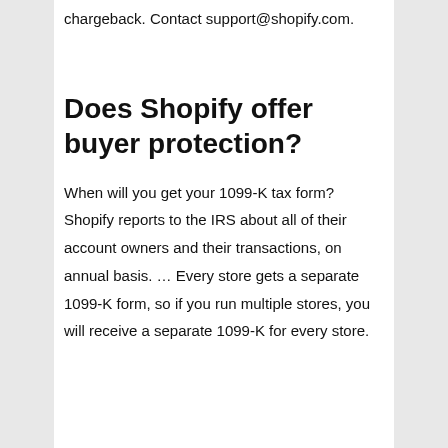chargeback. Contact support@shopify.com.
Does Shopify offer buyer protection?
When will you get your 1099-K tax form? Shopify reports to the IRS about all of their account owners and their transactions, on annual basis. … Every store gets a separate 1099-K form, so if you run multiple stores, you will receive a separate 1099-K for every store.